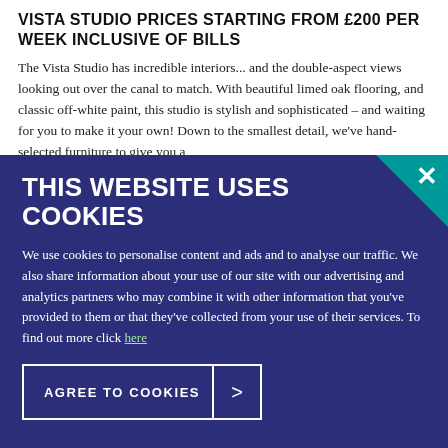VISTA STUDIO PRICES STARTING FROM £200 PER WEEK INCLUSIVE OF BILLS
The Vista Studio has incredible interiors... and the double-aspect views looking out over the canal to match. With beautiful limed oak flooring, and classic off-white paint, this studio is stylish and sophisticated – and waiting for you to make it your own! Down to the smallest detail, we've hand-selected furniture to give you a
THIS WEBSITE USES COOKIES
We use cookies to personalise content and ads and to analyse our traffic. We also share information about your use of our site with our advertising and analytics partners who may combine it with other information that you've provided to them or that they've collected from your use of their services. To find out more click here
AGREE TO COOKIES